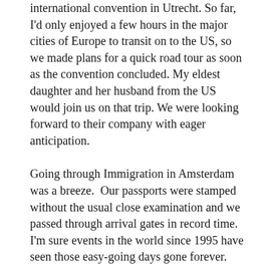international convention in Utrecht. So far, I'd only enjoyed a few hours in the major cities of Europe to transit on to the US, so we made plans for a quick road tour as soon as the convention concluded. My eldest daughter and her husband from the US would join us on that trip. We were looking forward to their company with eager anticipation.
Going through Immigration in Amsterdam was a breeze. Our passports were stamped without the usual close examination and we passed through arrival gates in record time. I'm sure events in the world since 1995 have seen those easy-going days gone forever.
While everyone develops an image of places they read about, or even see in the movies there's no substitute for visiting Amsterdam. You can feel the difference in culture and society as you exit the airport and head for the hotel. While cars do inhabit the land its obvious